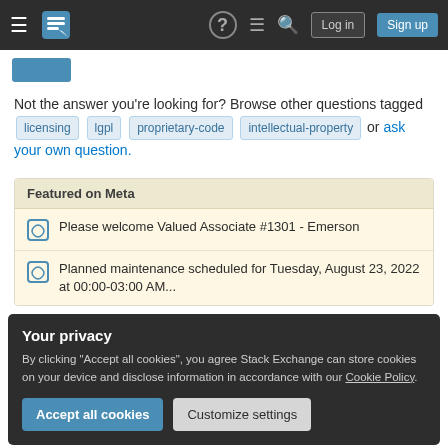Stack Exchange navigation bar with logo, icons, Log in and Sign up buttons
Not the answer you're looking for? Browse other questions tagged licensing lgpl proprietary-code intellectual-property or ask your own question.
Featured on Meta
Please welcome Valued Associate #1301 - Emerson
Planned maintenance scheduled for Tuesday, August 23, 2022 at 00:00-03:00 AM...
Your privacy
By clicking "Accept all cookies", you agree Stack Exchange can store cookies on your device and disclose information in accordance with our Cookie Policy.
Related